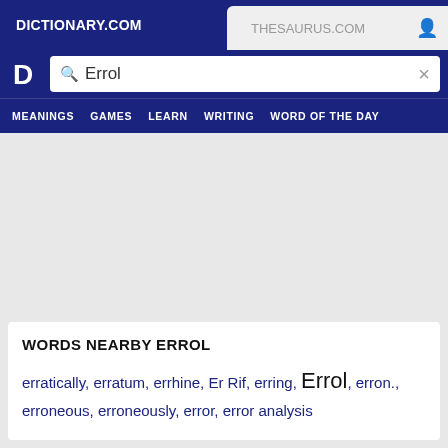DICTIONARY.COM | THESAURUS.COM
[Figure (screenshot): Dictionary.com logo - white D letter on dark blue background]
Errol
MEANINGS  GAMES  LEARN  WRITING  WORD OF THE DAY
WORDS NEARBY ERROL
erratically, erratum, errhine, Er Rif, erring, Errol, erron., erroneous, erroneously, error, error analysis